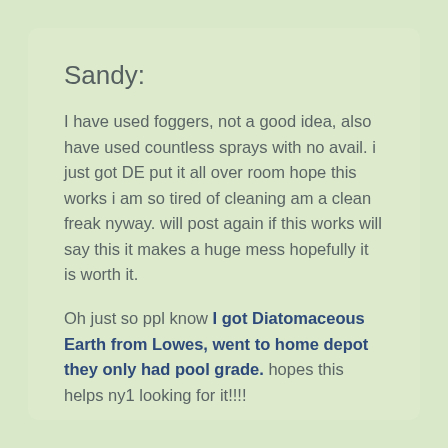Sandy:
I have used foggers, not a good idea, also have used countless sprays with no avail. i just got DE put it all over room hope this works i am so tired of cleaning am a clean freak nyway. will post again if this works will say this it makes a huge mess hopefully it is worth it.
Oh just so ppl know I got Diatomaceous Earth from Lowes, went to home depot they only had pool grade. hopes this helps ny1 looking for it!!!!